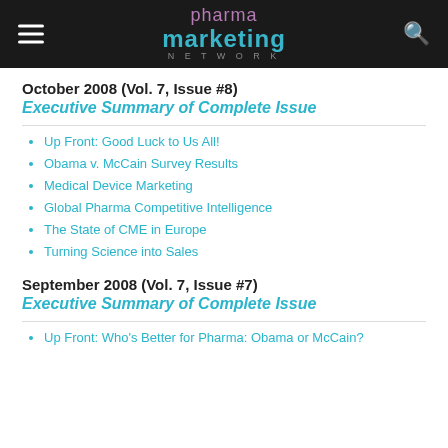pharma marketing NETWORK
October 2008 (Vol. 7, Issue #8)
Executive Summary of Complete Issue
Up Front: Good Luck to Us All!
Obama v. McCain Survey Results
Medical Device Marketing
Global Pharma Competitive Intelligence
The State of CME in Europe
Turning Science into Sales
September 2008 (Vol. 7, Issue #7)
Executive Summary of Complete Issue
Up Front: Who's Better for Pharma: Obama or McCain?